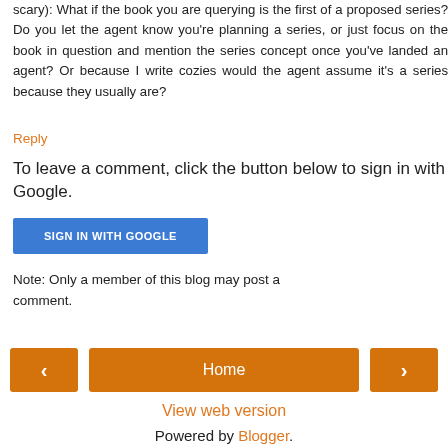Your post got me thinking though (and yes, that can be scary): What if the book you are querying is the first of a proposed series? Do you let the agent know you're planning a series, or just focus on the book in question and mention the series concept once you've landed an agent? Or because I write cozies would the agent assume it's a series because they usually are?
Reply
To leave a comment, click the button below to sign in with Google.
[Figure (screenshot): Blue button with text SIGN IN WITH GOOGLE]
Note: Only a member of this blog may post a comment.
[Figure (screenshot): Navigation bar with left arrow button, Home button, and right arrow button in orange]
View web version
Powered by Blogger.